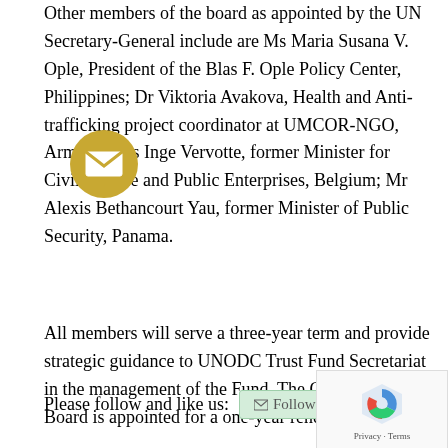Other members of the board as appointed by the UN Secretary-General include are Ms Maria Susana V. Ople, President of the Blas F. Ople Policy Center, Philippines; Dr Viktoria Avakova, Health and Anti-trafficking project coordinator at UMCOR-NGO, Armenia; Ms Inge Vervotte, former Minister for Civil Service and Public Enterprises, Belgium; Mr Alexis Bethancourt Yau, former Minister of Public Security, Panama.
All members will serve a three-year term and provide strategic guidance to UNODC Trust Fund Secretariat in the management of the Fund. The Chair of the Board is appointed for a one-year renewable term.
Please follow and like us: